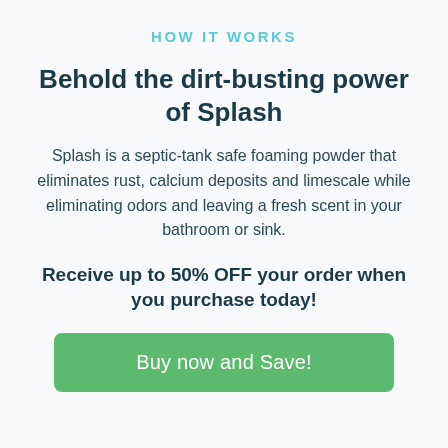HOW IT WORKS
Behold the dirt-busting power of Splash
Splash is a septic-tank safe foaming powder that eliminates rust, calcium deposits and limescale while eliminating odors and leaving a fresh scent in your bathroom or sink.
Receive up to 50% OFF your order when you purchase today!
Buy now and Save!